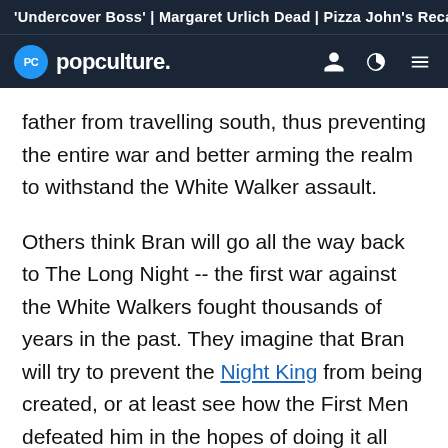'Undercover Boss' | Margaret Urlich Dead | Pizza John's Reca
popculture.
father from travelling south, thus preventing the entire war and better arming the realm to withstand the White Walker assault.
Others think Bran will go all the way back to The Long Night -- the first war against the White Walkers fought thousands of years in the past. They imagine that Bran will try to prevent the Night King from being created, or at least see how the First Men defeated him in the hopes of doing it all over again.